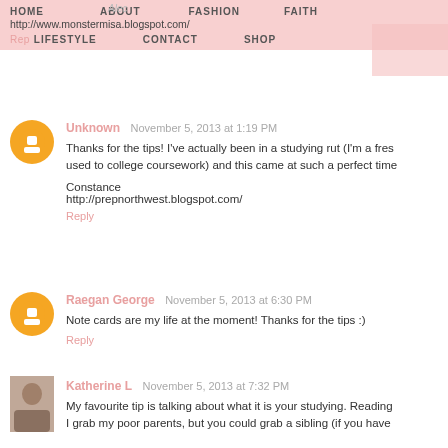HOME ABOUT FASHION FAITH | LIFESTYLE CONTACT SHOP | http://www.monstermisa.blogspot.com/
Unknown  November 5, 2013 at 1:19 PM
Thanks for the tips! I've actually been in a studying rut (I'm a freshman, still getting used to college coursework) and this came at such a perfect time.

Constance
http://prepnorthwest.blogspot.com/
Reply
Raegan George  November 5, 2013 at 6:30 PM
Note cards are my life at the moment! Thanks for the tips :)
Reply
Katherine L  November 5, 2013 at 7:32 PM
My favourite tip is talking about what it is your studying. Reading...
I grab my poor parents, but you could grab a sibling (if you have...